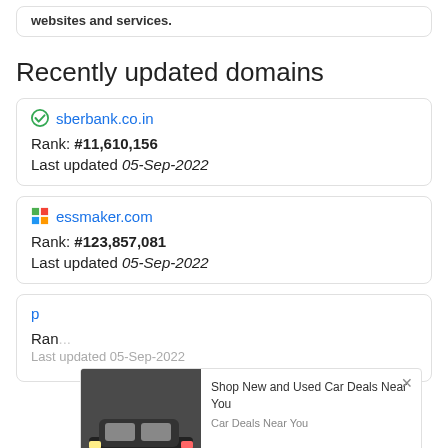websites and services.
Recently updated domains
sberbank.co.in
Rank: #11,610,156
Last updated 05-Sep-2022
essmaker.com
Rank: #123,857,081
Last updated 05-Sep-2022
p...
Rank...
Last updated 05-Sep-2022
[Figure (screenshot): Ad overlay showing a dark SUV truck with text 'Shop New and Used Car Deals Near You' and 'Car Deals Near You', powered by PurpleAds, with an X close button]